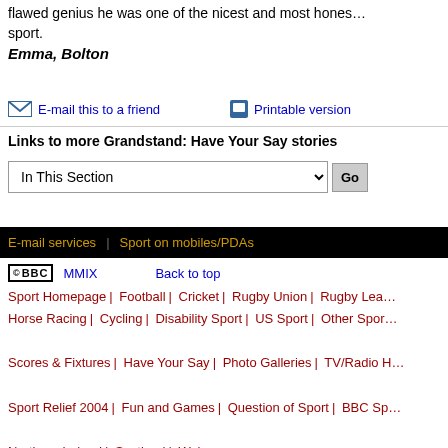flawed genius he was one of the nicest and most honest people in sport.
Emma, Bolton
E-mail this to a friend   Printable version
Links to more Grandstand: Have Your Say stories
In This Section [dropdown]
E-mail services | Sport on mobiles/PDAs
© BBC MMIX   Back to top   Sport Homepage | Football | Cricket | Rugby Union | Rugby League | Horse Racing | Cycling | Disability Sport | US Sport | Other Sport   Scores & Fixtures | Have Your Say | Photo Galleries | TV/Radio   Sport Relief 2004 | Fun and Games | Question of Sport | BBC Sport   Northern Ireland | Scotland | Wales   BBC Sport Academy >> | BBC News >> | BBC Weather >>   About the BBC | News sources | Privacy & Cookies Policy | Cont...